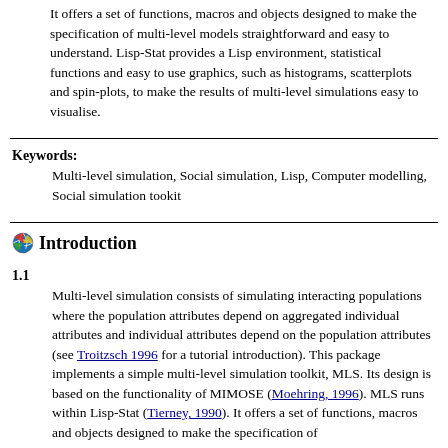It offers a set of functions, macros and objects designed to make the specification of multi-level models straightforward and easy to understand. Lisp-Stat provides a Lisp environment, statistical functions and easy to use graphics, such as histograms, scatterplots and spin-plots, to make the results of multi-level simulations easy to visualise.
Keywords:
Multi-level simulation, Social simulation, Lisp, Computer modelling, Social simulation tookit
Introduction
1.1
Multi-level simulation consists of simulating interacting populations where the population attributes depend on aggregated individual attributes and individual attributes depend on the population attributes (see Troitzsch 1996 for a tutorial introduction). This package implements a simple multi-level simulation toolkit, MLS. Its design is based on the functionality of MIMOSE (Moehring, 1996). MLS runs within Lisp-Stat (Tierney, 1990). It offers a set of functions, macros and objects designed to make the specification of